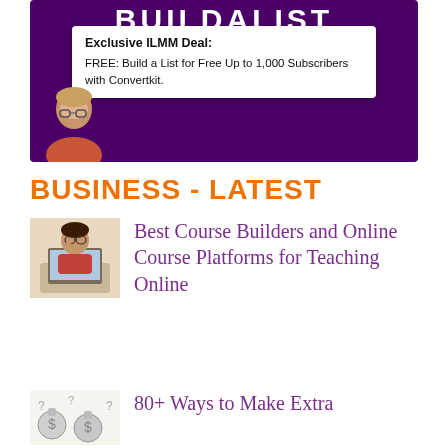[Figure (screenshot): Banner with purple background showing 'BUILDALIST' text, a white card with exclusive deal text, and a person's face at bottom left]
Exclusive ILMM Deal:
FREE: Build a List for Free Up to 1,000 Subscribers with Convertkit.
BUSINESS - LATEST
[Figure (photo): Woman with glasses sitting at laptop, thinking]
Best Course Builders and Online Course Platforms for Teaching Online
[Figure (illustration): Money bags and coins with question marks illustration]
80+ Ways to Make Extra